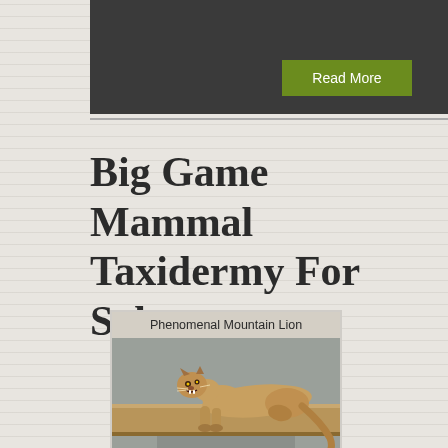Read More
Big Game Mammal Taxidermy For Sale
Phenomenal Mountain Lion
[Figure (photo): A taxidermy mountain lion (puma/cougar) mounted on a wooden beam, posed in a crouching/stalking position, photographed against a gray background.]